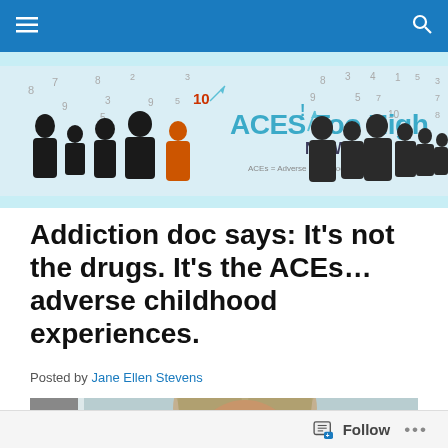≡  🔍
[Figure (illustration): ACES Too High News banner with silhouettes of people and numbers, teal/orange colored logo text reading 'ACES Too High! NEWS', subtitle 'ACEs = Adverse Childhood Experiences']
Addiction doc says: It's not the drugs. It's the ACEs...adverse childhood experiences.
Posted by Jane Ellen Stevens
[Figure (photo): Partial photo of a middle-aged man with gray-blond hair, cropped at top of head, indoor background with blinds visible on left side]
Follow  •••